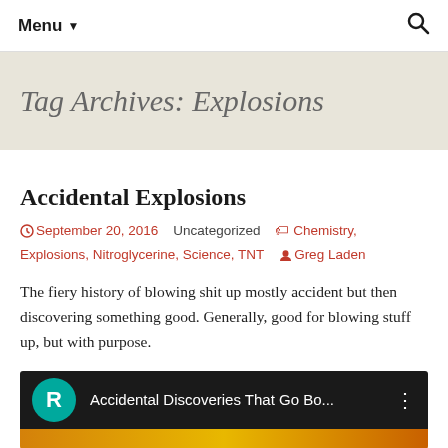Menu ▾
Tag Archives: Explosions
Accidental Explosions
September 20, 2016   Uncategorized   Chemistry, Explosions, Nitroglycerine, Science, TNT   Greg Laden
The fiery history of blowing shit up mostly accident but then discovering something good. Generally, good for blowing stuff up, but with purpose.
[Figure (screenshot): Video thumbnail showing 'Accidental Discoveries That Go Bo...' with a teal R logo icon on dark background with yellow strip below]